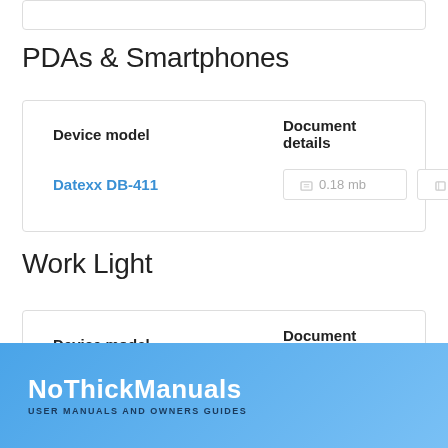PDAs & Smartphones
| Device model | Document details |
| --- | --- |
| Datexx DB-411 | 0.18 mb | 1 pages |
Work Light
| Device model | Document details |
| --- | --- |
| Datexx LED-25 | 0.12 mb | 1 pages |
NoThickManuals USER MANUALS AND OWNERS GUIDES